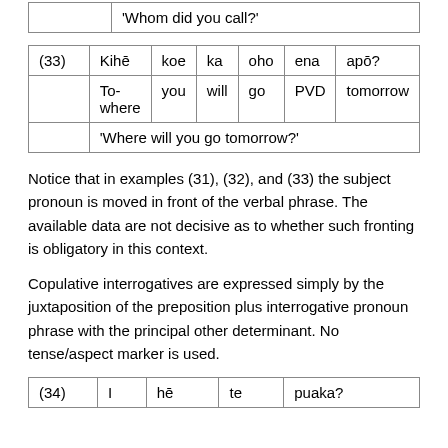|  | 'Whom did you call?' |
| (33) | Kihē | koe | ka | oho | ena | apō? |
|  | To-where | you | will | go | PVD | tomorrow |
|  | 'Where will you go tomorrow?' |
Notice that in examples (31), (32), and (33) the subject pronoun is moved in front of the verbal phrase. The available data are not decisive as to whether such fronting is obligatory in this context.
Copulative interrogatives are expressed simply by the juxtaposition of the preposition plus interrogative pronoun phrase with the principal other determinant. No tense/aspect marker is used.
| (34) | I | hē | te | puaka? |